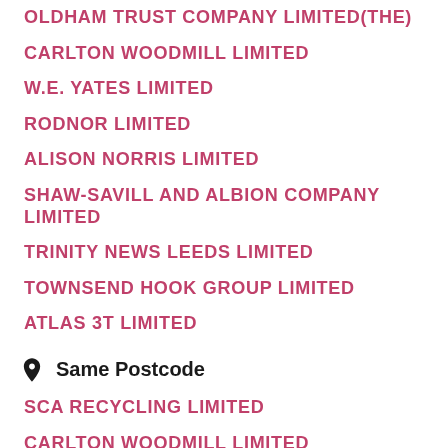OLDHAM TRUST COMPANY LIMITED(THE)
CARLTON WOODMILL LIMITED
W.E. YATES LIMITED
RODNOR LIMITED
ALISON NORRIS LIMITED
SHAW-SAVILL AND ALBION COMPANY LIMITED
TRINITY NEWS LEEDS LIMITED
TOWNSEND HOOK GROUP LIMITED
ATLAS 3T LIMITED
Same Postcode
SCA RECYCLING LIMITED
CARLTON WOODMILL LIMITED